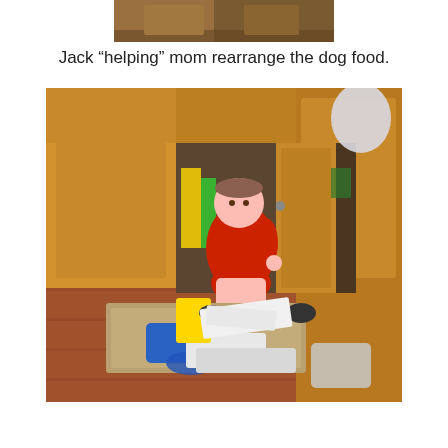[Figure (photo): Partial top photo showing wooden cabinets, cropped at top of page]
Jack “helping” mom rearrange the dog food.
[Figure (photo): A toddler in a red shirt sitting inside an open lower kitchen cabinet, surrounded by items pulled out onto the floor including bags, containers, and other household items on a wood floor with a mat.]